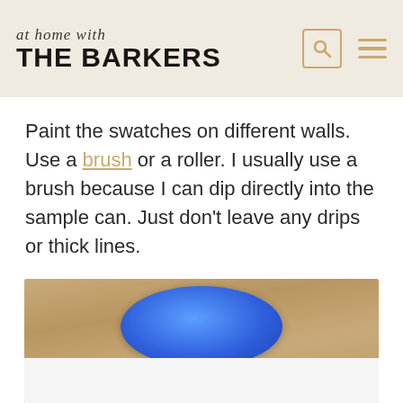at home with THE BARKERS
Paint the swatches on different walls. Use a brush or a roller. I usually use a brush because I can dip directly into the sample can. Just don't leave any drips or thick lines.
[Figure (photo): A blue paint can lid viewed from above, sitting on a wooden surface, with a white reflection below.]